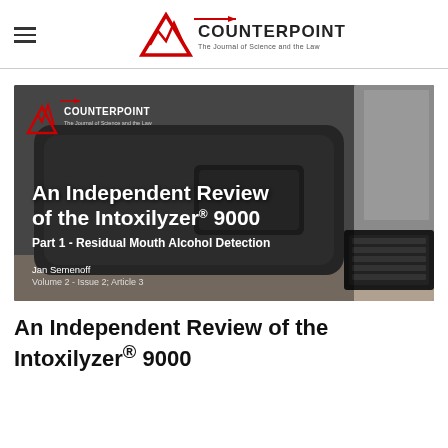COUNTERPOINT — The Journal of Science and the Law
[Figure (photo): Photo of an Intoxilyzer 9000 breathalyzer device on a desk, with overlaid text reading 'An Independent Review of the Intoxilyzer® 9000 — Part 1 - Residual Mouth Alcohol Detection', authored by Jan Semenoff, Volume 2 - Issue 2; Article 3, with the Counterpoint journal logo in the upper left corner.]
An Independent Review of the Intoxilyzer® 9000